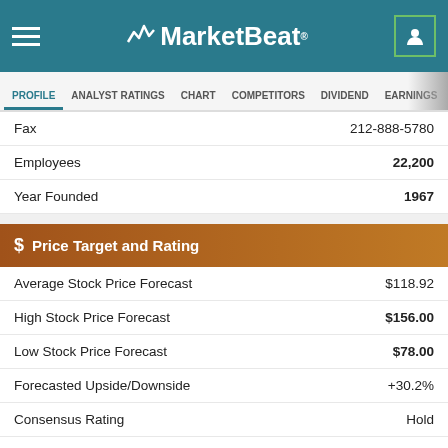MarketBeat
PROFILE | ANALYST RATINGS | CHART | COMPETITORS | DIVIDEND | EARNINGS
| Field | Value |
| --- | --- |
| Fax | 212-888-5780 |
| Employees | 22,200 |
| Year Founded | 1967 |
$ Price Target and Rating
| Field | Value |
| --- | --- |
| Average Stock Price Forecast | $118.92 |
| High Stock Price Forecast | $156.00 |
| Low Stock Price Forecast | $78.00 |
| Forecasted Upside/Downside | +30.2% |
| Consensus Rating | Hold |
| Rating Score (0-4) | 2.46 |
| Research Coverage | 13 Analysts |
Profitability